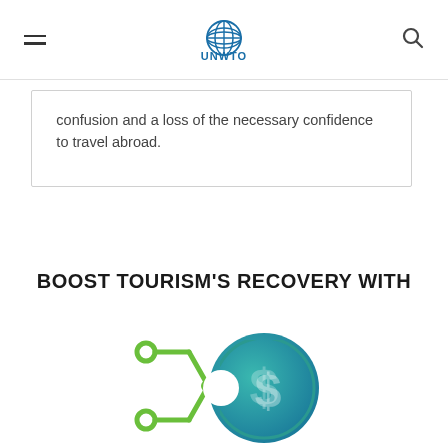UNWTO
confusion and a loss of the necessary confidence to travel abroad.
BOOST TOURISM'S RECOVERY WITH
[Figure (illustration): Green circuit/network icon with teal dollar sign coin, representing financial technology for tourism recovery]